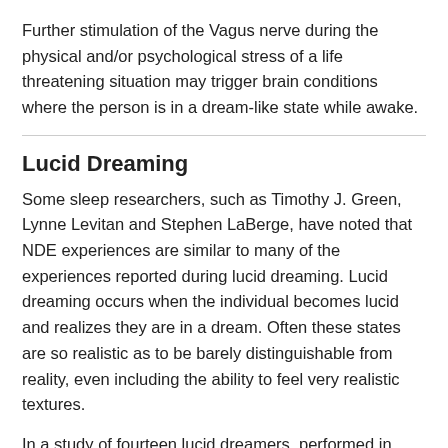Further stimulation of the Vagus nerve during the physical and/or psychological stress of a life threatening situation may trigger brain conditions where the person is in a dream-like state while awake.
Lucid Dreaming
Some sleep researchers, such as Timothy J. Green, Lynne Levitan and Stephen LaBerge, have noted that NDE experiences are similar to many of the experiences reported during lucid dreaming. Lucid dreaming occurs when the individual becomes lucid and realizes they are in a dream. Often these states are so realistic as to be barely distinguishable from reality, even including the ability to feel very realistic textures.
In a study of fourteen lucid dreamers, performed in 1991, people who perform wake-initiated lucid dreams operation (WILD) reported experiences consistent with aspects of out-of-body experiences such as floating above their beds and the feeling of leaving their bodies. Due to the phenomenological overlap between lucid dreams, near death experiences and out-of-body experiences, researchers say